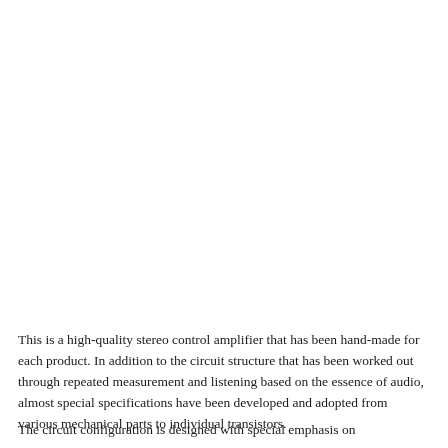This is a high-quality stereo control amplifier that has been hand-made for each product. In addition to the circuit structure that has been worked out through repeated measurement and listening based on the essence of audio, almost special specifications have been developed and adopted from various mechanical parts to individual transistors.
The circuit configuration is designed with special emphasis on